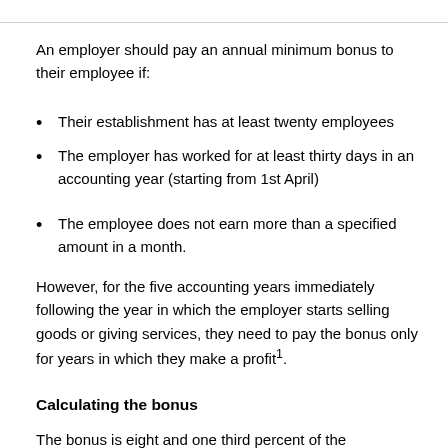An employer should pay an annual minimum bonus to their employee if:
Their establishment has at least twenty employees
The employer has worked for at least thirty days in an accounting year (starting from 1st April)
The employee does not earn more than a specified amount in a month.
However, for the five accounting years immediately following the year in which the employer starts selling goods or giving services, they need to pay the bonus only for years in which they make a profit¹.
Calculating the bonus
The bonus is eight and one third percent of the